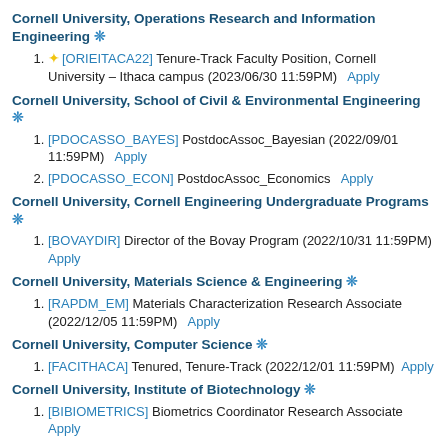Cornell University, Operations Research and Information Engineering ❊
[ORIEITACA22] Tenure-Track Faculty Position, Cornell University – Ithaca campus (2023/06/30 11:59PM)  Apply
Cornell University, School of Civil & Environmental Engineering ❊
[PDOCASSO_BAYES] PostdocAssoc_Bayesian (2022/09/01 11:59PM)  Apply
[PDOCASSO_ECON] PostdocAssoc_Economics  Apply
Cornell University, Cornell Engineering Undergraduate Programs ❊
[BOVAYDIR] Director of the Bovay Program (2022/10/31 11:59PM)  Apply
Cornell University, Materials Science & Engineering ❊
[RAPDM_EM] Materials Characterization Research Associate (2022/12/05 11:59PM)  Apply
Cornell University, Computer Science ❊
[FACITHACA] Tenured, Tenure-Track (2022/12/01 11:59PM)  Apply
Cornell University, Institute of Biotechnology ❊
[BIBIOMETRICS] Biometrics Coordinator Research Associate  Apply